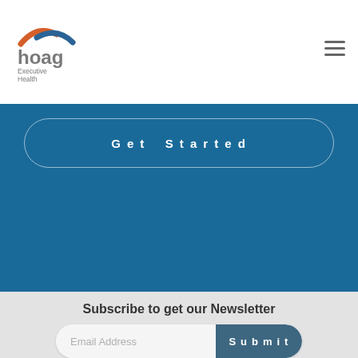hoag Executive Health
Get Started
Subscribe to get our Newsletter
Email Address
Submit